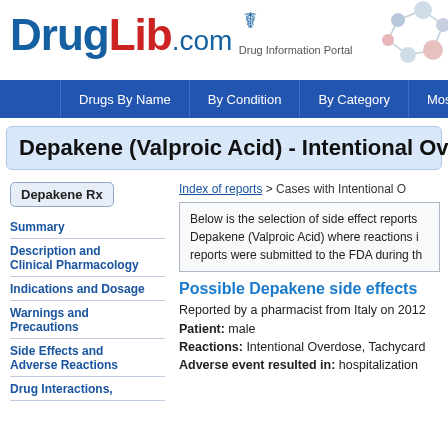[Figure (logo): DrugLib.com Drug Information Portal logo with blue and red text and molecule graphic]
Drugs By Name | By Condition | By Category | Most
Depakene (Valproic Acid) - Intentional Overd
Depakene Rx
Summary
Description and Clinical Pharmacology
Indications and Dosage
Warnings and Precautions
Side Effects and Adverse Reactions
Drug Interactions
Index of reports > Cases with Intentional O
Below is the selection of side effect reports Depakene (Valproic Acid) where reactions i reports were submitted to the FDA during th
Possible Depakene side effects
Reported by a pharmacist from Italy on 2012
Patient: male
Reactions: Intentional Overdose, Tachycard
Adverse event resulted in: hospitalization